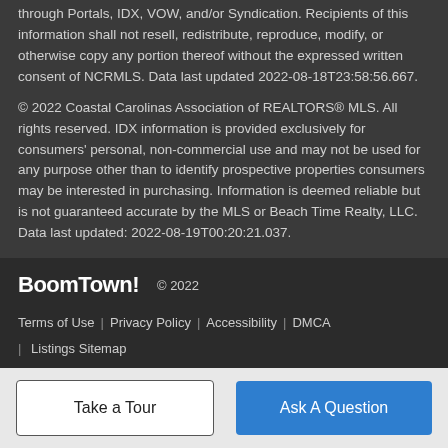through Portals, IDX, VOW, and/or Syndication. Recipients of this information shall not resell, redistribute, reproduce, modify, or otherwise copy any portion thereof without the expressed written consent of NCRMLS. Data last updated 2022-08-18T23:58:56.667.
© 2022 Coastal Carolinas Association of REALTORS® MLS. All rights reserved. IDX information is provided exclusively for consumers' personal, non-commercial use and may not be used for any purpose other than to identify prospective properties consumers may be interested in purchasing. Information is deemed reliable but is not guaranteed accurate by the MLS or Beach Time Realty, LLC. Data last updated: 2022-08-19T00:20:21.037.
BoomTown! © 2022 | Terms of Use | Privacy Policy | Accessibility | DMCA | Listings Sitemap
Take a Tour
Ask A Question